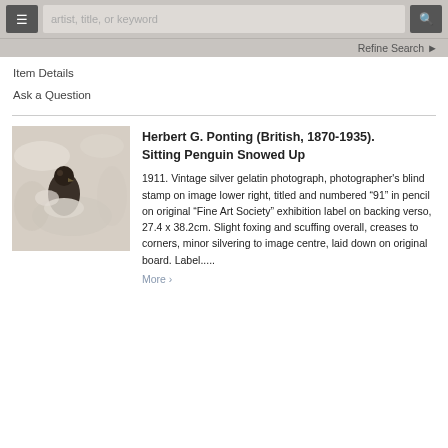artist, title, or keyword  [search]  Refine Search
Item Details
Ask a Question
[Figure (photo): Sepia/black-and-white photograph of a penguin sitting in snow, nearly buried, only head and body visible against snowy background.]
Herbert G. Ponting (British, 1870-1935). Sitting Penguin Snowed Up
1911. Vintage silver gelatin photograph, photographer’s blind stamp on image lower right, titled and numbered “91” in pencil on original “Fine Art Society” exhibition label on backing verso, 27.4 x 38.2cm. Slight foxing and scuffing overall, creases to corners, minor silvering to image centre, laid down on original board. Label.....
More ›